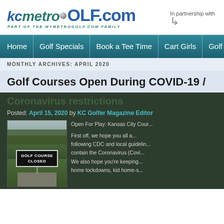[Figure (logo): KCMetroGolf.com logo with golf ball, tagline PART OF THE MYMETROGOLF.COM FAMILY, and In partnership with arrow]
[Figure (screenshot): Navigation bar with links: Home, Golf Specials, Book a Tee Time, Cart Girls, Golf Cours...]
MONTHLY ARCHIVES: APRIL 2020
Golf Courses Open During COVID-19 /
Coronavirus restrictions
Posted: April 15, 2020 by KC Golfer Magazine Editor
[Figure (photo): Photo of golf course with a 'GOLF COURSE CLOSED' sign on a post, green grass and trees in background]
Open For Play: Kansas City Cour...
First off, we hope you all a... following CDC and local guidelin... contain the Coronavirus (Covi... We also hope you're keeping... home lockdowns, kid home-s...